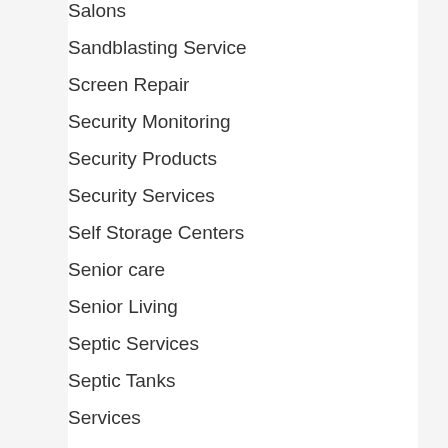Salons
Sandblasting Service
Screen Repair
Security Monitoring
Security Products
Security Services
Self Storage Centers
Senior care
Senior Living
Septic Services
Septic Tanks
Services
Services - General
Sheds
Shopping
Shuttle Services